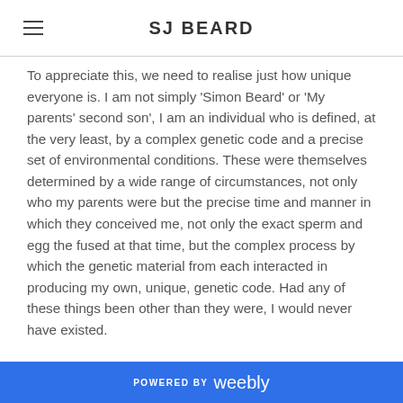SJ BEARD
To appreciate this, we need to realise just how unique everyone is. I am not simply ‘Simon Beard’ or ‘My parents’ second son’, I am an individual who is defined, at the very least, by a complex genetic code and a precise set of environmental conditions. These were themselves determined by a wide range of circumstances, not only who my parents were but the precise time and manner in which they conceived me, not only the exact sperm and egg the fused at that time, but the complex process by which the genetic material from each interacted in producing my own, unique, genetic code. Had any of these things been other than they were, I would never have existed.

This is a problem because it follows that somebody
POWERED BY weebly